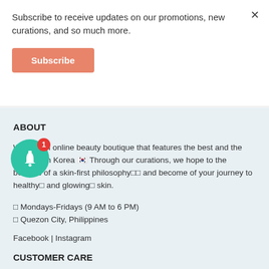Subscribe to receive updates on our promotions, new curations, and so much more.
Subscribe
ABOUT
We are an online beauty boutique that features the best and the latest from Korea 🇰🇷 Through our curations, we hope to the benefits of a skin-first philosophy and become of your journey to healthy and glowing skin.
□ Mondays-Fridays (9 AM to 6 PM)
□ Quezon City, Philippines
Facebook | Instagram
CUSTOMER CARE